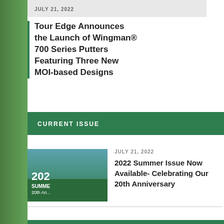JULY 21, 2022
Tour Edge Announces the Launch of Wingman® 700 Series Putters Featuring Three New MOI-based Designs
CURRENT ISSUE
JULY 21, 2022
2022 Summer Issue Now Available- Celebrating Our 20th Anniversary
WISCONSIN CLASSIC GOLF TOUR